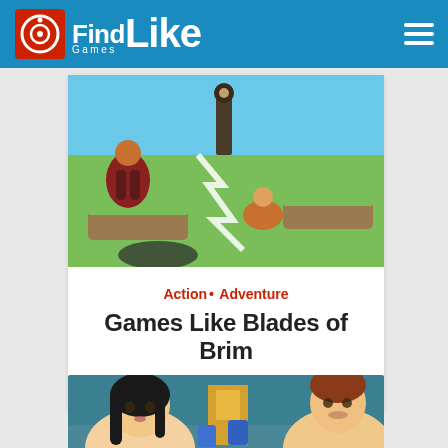FindGames Like
[Figure (screenshot): Game screenshot from Blades of Brim showing colorful 3D action gameplay with characters fighting on floating islands with bright sky background]
Action• Adventure
Games Like Blades of Brim
2017-10-19
[Figure (screenshot): Animated game screenshot showing two cartoon characters - a dark-haired woman on the left and a brown-haired man on the right, in what appears to be a classroom or indoor setting]